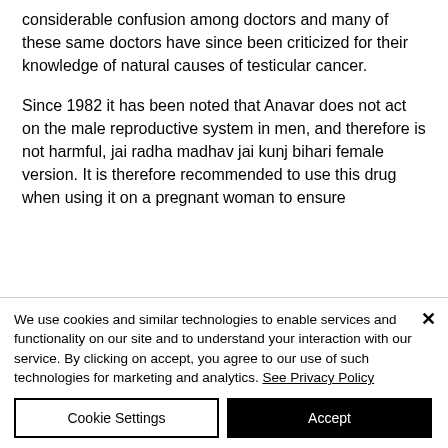considerable confusion among doctors and many of these same doctors have since been criticized for their knowledge of natural causes of testicular cancer.
Since 1982 it has been noted that Anavar does not act on the male reproductive system in men, and therefore is not harmful, jai radha madhav jai kunj bihari female version. It is therefore recommended to use this drug when using it on a pregnant woman to ensure
We use cookies and similar technologies to enable services and functionality on our site and to understand your interaction with our service. By clicking on accept, you agree to our use of such technologies for marketing and analytics. See Privacy Policy